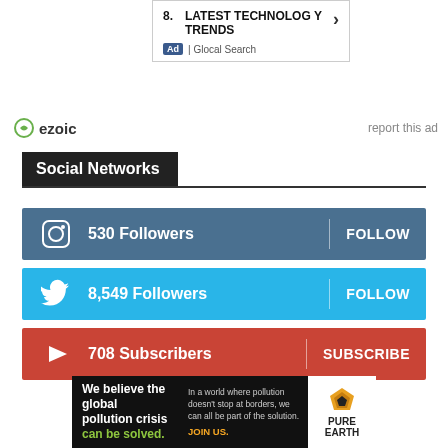[Figure (screenshot): Advertisement box showing 'LATEST TECHNOLOGY TRENDS' item 8 with chevron, Ad badge and Glocal Search label]
[Figure (logo): Ezoic logo with 'report this ad' text]
Social Networks
530  Followers  FOLLOW
8,549  Followers  FOLLOW
708  Subscribers  SUBSCRIBE
[Figure (screenshot): Pure Earth advertisement: 'We believe the global pollution crisis can be solved. In a world where pollution doesn't stop at borders, we can all be part of the solution. JOIN US.' with Pure Earth logo]